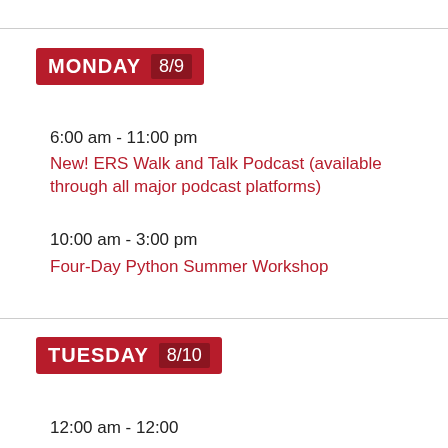MONDAY 8/9
6:00 am - 11:00 pm
New! ERS Walk and Talk Podcast (available through all major podcast platforms)
10:00 am - 3:00 pm
Four-Day Python Summer Workshop
TUESDAY 8/10
12:00 am - 12:00